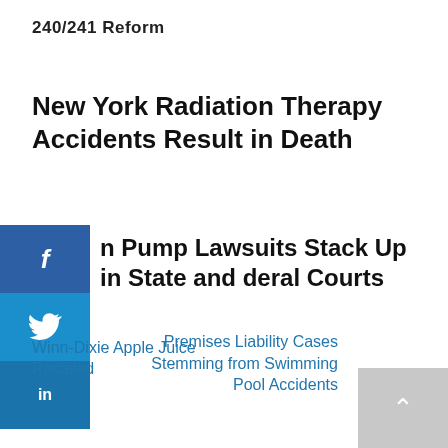240/241 Reform
New York Radiation Therapy Accidents Result in Death
n Pump Lawsuits Stack Up in State and deral Courts
Winn-Dixie Apple Juice Recalled
Premises Liability Cases Stemming from Swimming Pool Accidents